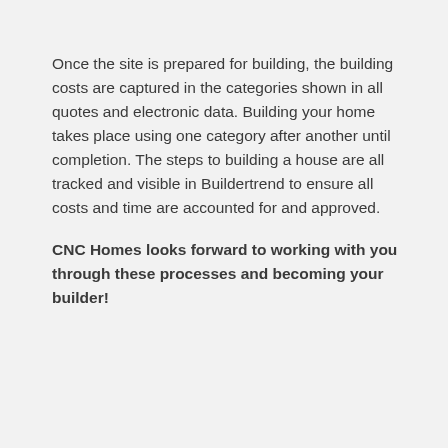Once the site is prepared for building, the building costs are captured in the categories shown in all quotes and electronic data. Building your home takes place using one category after another until completion. The steps to building a house are all tracked and visible in Buildertrend to ensure all costs and time are accounted for and approved.
CNC Homes looks forward to working with you through these processes and becoming your builder!